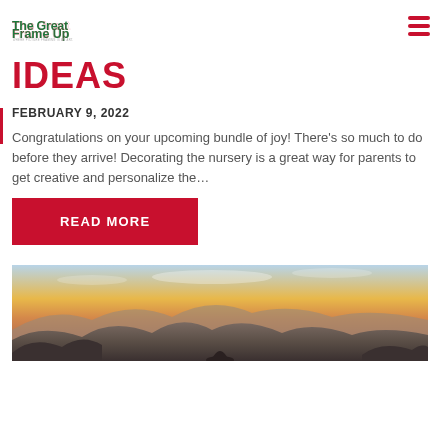The Great Frame Up — WHERE PICTURE FRAMING IS AN ART.
IDEAS
FEBRUARY 9, 2022
Congratulations on your upcoming bundle of joy! There's so much to do before they arrive! Decorating the nursery is a great way for parents to get creative and personalize the…
READ MORE
[Figure (photo): Landscape photo showing a mountain vista at sunset/dusk, with silhouetted rocky mountains in the foreground and a warm orange-yellow sky with clouds in the background. A person appears at the bottom edge.]